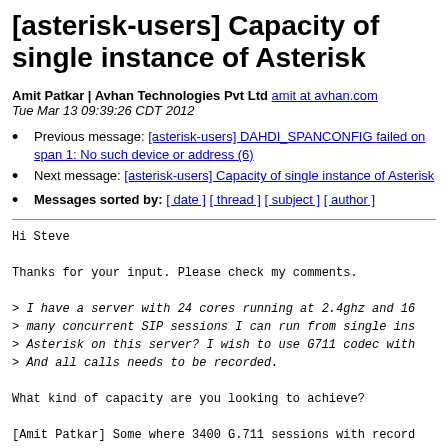[asterisk-users] Capacity of single instance of Asterisk
Amit Patkar | Avhan Technologies Pvt Ltd amit at avhan.com
Tue Mar 13 09:39:26 CDT 2012
Previous message: [asterisk-users] DAHDI_SPANCONFIG failed on span 1: No such device or address (6)
Next message: [asterisk-users] Capacity of single instance of Asterisk
Messages sorted by: [ date ] [ thread ] [ subject ] [ author ]
Hi Steve

Thanks for your input. Please check my comments.

> I have a server with 24 cores running at 2.4ghz and 16
> many concurrent SIP sessions I can run from single ins
> Asterisk on this server? I wish to use G711 codec with
> And all calls needs to be recorded.

What kind of capacity are you looking to achieve?

[Amit Patkar] Some where 3400 G.711 sessions with record